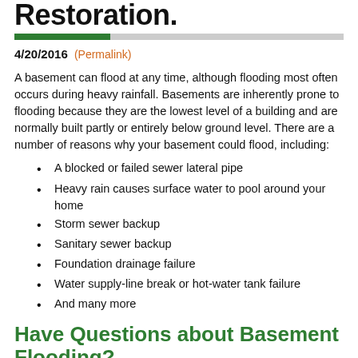Restoration.
4/20/2016 (Permalink)
A basement can flood at any time, although flooding most often occurs during heavy rainfall. Basements are inherently prone to flooding because they are the lowest level of a building and are normally built partly or entirely below ground level. There are a number of reasons why your basement could flood, including:
A blocked or failed sewer lateral pipe
Heavy rain causes surface water to pool around your home
Storm sewer backup
Sanitary sewer backup
Foundation drainage failure
Water supply-line break or hot-water tank failure
And many more
Have Questions about Basement Flooding?
Call Today - 719.544.7165